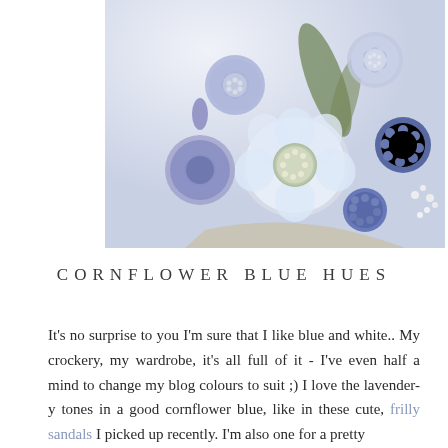[Figure (photo): Close-up photograph of a bouquet of cornflower blue and white flowers, including scabiosa and globe thistles, with green foliage visible. Soft, light background.]
CORNFLOWER BLUE HUES
It's no surprise to you I'm sure that I like blue and white.. My crockery, my wardrobe, it's all full of it - I've even half a mind to change my blog colours to suit ;) I love the lavender-y tones in a good cornflower blue, like in these cute, frilly sandals I picked up recently. I'm also one for a pretty